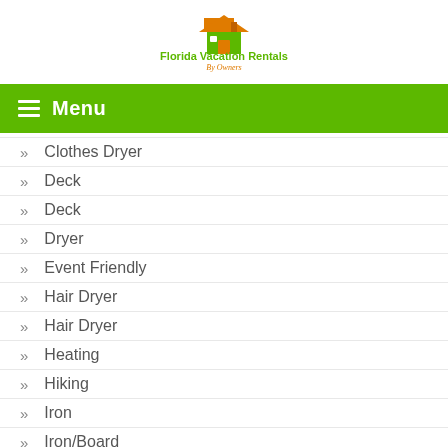[Figure (logo): Florida Vacation Rentals By Owners logo with house icon in orange/green]
Menu
Clothes Dryer
Deck
Deck
Dryer
Event Friendly
Hair Dryer
Hair Dryer
Heating
Hiking
Iron
Iron/Board
Kitchen Utensils